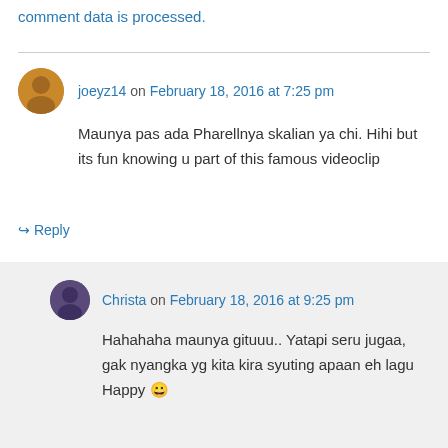comment data is processed.
joeyz14 on February 18, 2016 at 7:25 pm
Maunya pas ada Pharellnya skalian ya chi. Hihi but its fun knowing u part of this famous videoclip
Reply
Christa on February 18, 2016 at 9:25 pm
Hahahaha maunya gituuu.. Yatapi seru jugaa, gak nyangka yg kita kira syuting apaan eh lagu Happy 😀